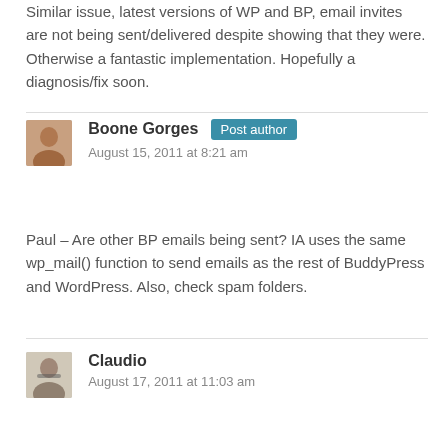Similar issue, latest versions of WP and BP, email invites are not being sent/delivered despite showing that they were. Otherwise a fantastic implementation. Hopefully a diagnosis/fix soon.
Boone Gorges Post author
August 15, 2011 at 8:21 am
Paul – Are other BP emails being sent? IA uses the same wp_mail() function to send emails as the rest of BuddyPress and WordPress. Also, check spam folders.
Claudio
August 17, 2011 at 11:03 am